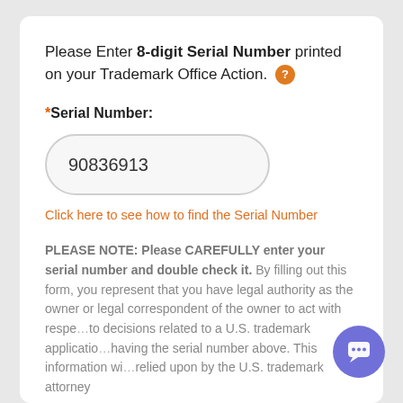Please Enter 8-digit Serial Number printed on your Trademark Office Action. ?
*Serial Number:
90836913
Click here to see how to find the Serial Number
PLEASE NOTE: Please CAREFULLY enter your serial number and double check it. By filling out this form, you represent that you have legal authority as the owner or legal correspondent of the owner to act with respect to decisions related to a U.S. trademark application having the serial number above. This information will be relied upon by the U.S. trademark attorney